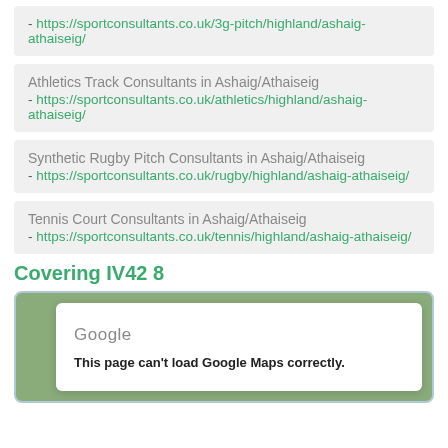- https://sportconsultants.co.uk/3g-pitch/highland/ashaig-athaiseig/
Athletics Track Consultants in Ashaig/Athaiseig - https://sportconsultants.co.uk/athletics/highland/ashaig-athaiseig/
Synthetic Rugby Pitch Consultants in Ashaig/Athaiseig - https://sportconsultants.co.uk/rugby/highland/ashaig-athaiseig/
Tennis Court Consultants in Ashaig/Athaiseig - https://sportconsultants.co.uk/tennis/highland/ashaig-athaiseig/
Covering IV42 8
[Figure (screenshot): Google Maps embed showing error: 'This page can't load Google Maps correctly.']